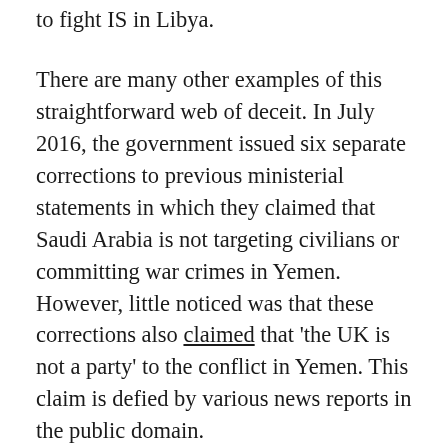to fight IS in Libya.
There are many other examples of this straightforward web of deceit. In July 2016, the government issued six separate corrections to previous ministerial statements in which they claimed that Saudi Arabia is not targeting civilians or committing war crimes in Yemen. However, little noticed was that these corrections also claimed that 'the UK is not a party' to the conflict in Yemen. This claim is defied by various news reports in the public domain.
British foreign policy is in extreme mode, whereby Ministers do not believe they should be accountable to the public. This is the very definition of dictatorship. Although in some of these wars, Britain is combatting terrorist forces